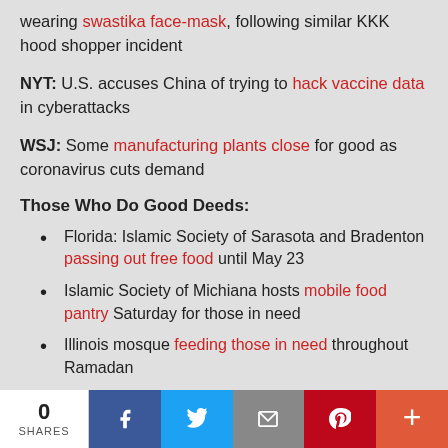wearing swastika face-mask, following similar KKK hood shopper incident
NYT: U.S. accuses China of trying to hack vaccine data in cyberattacks
WSJ: Some manufacturing plants close for good as coronavirus cuts demand
Those Who Do Good Deeds:
Florida: Islamic Society of Sarasota and Bradenton passing out free food until May 23
Islamic Society of Michiana hosts mobile food pantry Saturday for those in need
Illinois mosque feeding those in need throughout Ramadan
Houston area mosques help with COVID-19 relief efforts during Ramadan
0 SHARES | Facebook | Twitter | Email | Pinterest | Plus